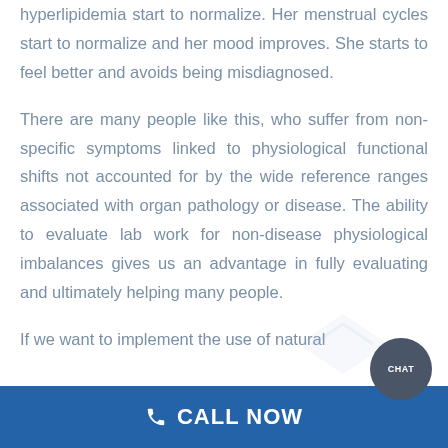hyperlipidemia start to normalize. Her menstrual cycles start to normalize and her mood improves. She starts to feel better and avoids being misdiagnosed.
There are many people like this, who suffer from non-specific symptoms linked to physiological functional shifts not accounted for by the wide reference ranges associated with organ pathology or disease. The ability to evaluate lab work for non-disease physiological imbalances gives us an advantage in fully evaluating and ultimately helping many people.
If we want to implement the use of natural
CALL NOW